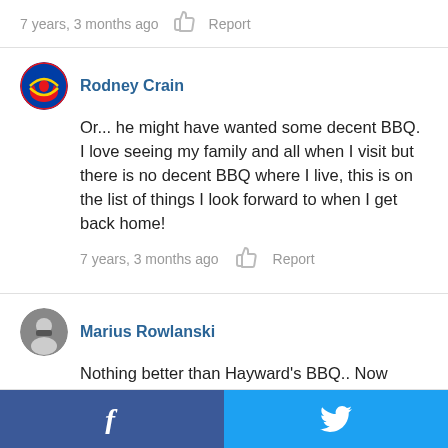7 years, 3 months ago   👍   Report
Rodney Crain
Or... he might have wanted some decent BBQ. I love seeing my family and all when I visit but there is no decent BBQ where I live, this is on the list of things I look forward to when I get back home!
7 years, 3 months ago   👍   Report
Marius Rowlanski
Nothing better than Hayward's BBQ.. Now owned by a good friend of mine and fraternity brother.
7 years, 2 months ago   👍   Report